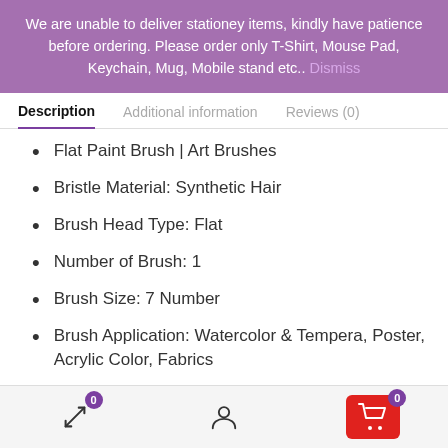We are unable to deliver stationey items, kindly have patience before ordering. Please order only T-Shirt, Mouse Pad, Keychain, Mug, Mobile stand etc.. Dismiss
Description | Additional information | Reviews (0)
Flat Paint Brush | Art Brushes
Bristle Material: Synthetic Hair
Brush Head Type: Flat
Number of Brush: 1
Brush Size: 7 Number
Brush Application: Watercolor & Tempera, Poster, Acrylic Color, Fabrics
0 | user icon | cart 0